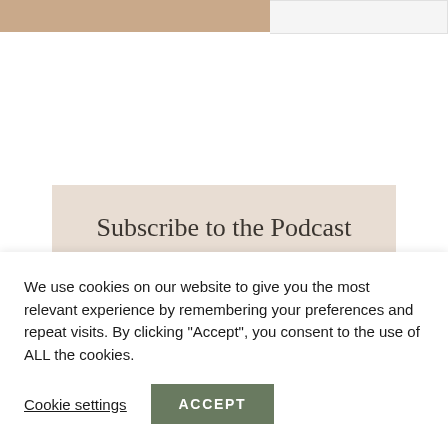[Figure (photo): Partial view of a skin-toned image on the left side and a light grey bordered box on the right, forming a top image strip.]
Subscribe to the Podcast
Follow on your favorite listening app
We use cookies on our website to give you the most relevant experience by remembering your preferences and repeat visits. By clicking “Accept”, you consent to the use of ALL the cookies.
Cookie settings
ACCEPT